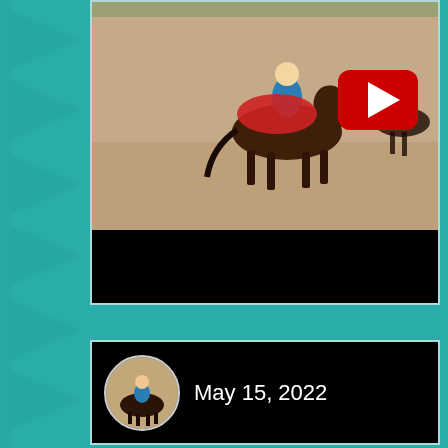[Figure (screenshot): A social media page screenshot showing two content cards on a teal background with decorative pattern on the left side. The top card shows a video thumbnail of a person riding a horse in an arena, with a YouTube play button overlay, and a black bar at the bottom. The bottom card shows a circular avatar thumbnail of a horse rider and the date text 'May 15, 2022' in white on a black background.]
May 15, 2022